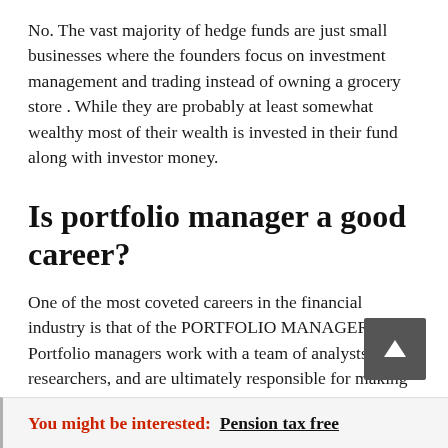No. The vast majority of hedge funds are just small businesses where the founders focus on investment management and trading instead of owning a grocery store . While they are probably at least somewhat wealthy most of their wealth is invested in their fund along with investor money.
Is portfolio manager a good career?
One of the most coveted careers in the financial industry is that of the PORTFOLIO MANAGER. Portfolio managers work with a team of analysts and researchers, and are ultimately responsible for making the final investment decisions for a fund – or asset-management vehicle.
You might be interested:  Pension tax free